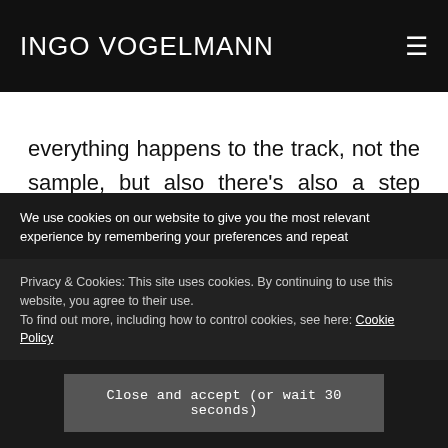INGO VOGELMANN
everything happens to the track, not the sample, but also there's also a step where you select a sample before using it on the track. So the steps are; tap Sample and then choose your sample, then tap Note to play the sample on the...
We use cookies on our website to give you the most relevant experience by remembering your preferences and repeat visits. By clicking "Accept" you consent to the use of ALL the cookies.
Privacy & Cookies: This site uses cookies. By continuing to use this website, you agree to their use.
To find out more, including how to control cookies, see here: Cookie Policy
Close and accept (or wait 30 seconds)